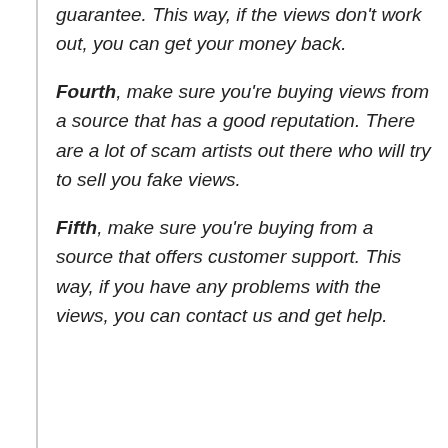guarantee. This way, if the views don't work out, you can get your money back.
Fourth, make sure you're buying views from a source that has a good reputation. There are a lot of scam artists out there who will try to sell you fake views.
Fifth, make sure you're buying from a source that offers customer support. This way, if you have any problems with the views, you can contact us and get help.